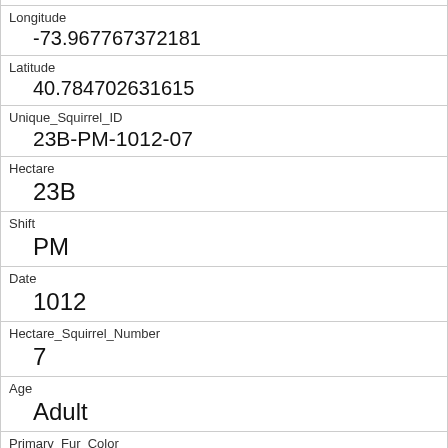| Longitude | -73.967767372181 |
| Latitude | 40.784702631615 |
| Unique_Squirrel_ID | 23B-PM-1012-07 |
| Hectare | 23B |
| Shift | PM |
| Date | 1012 |
| Hectare_Squirrel_Number | 7 |
| Age | Adult |
| Primary_Fur_Color | Gray |
| Highlight_Fur_Color | Cinnamon |